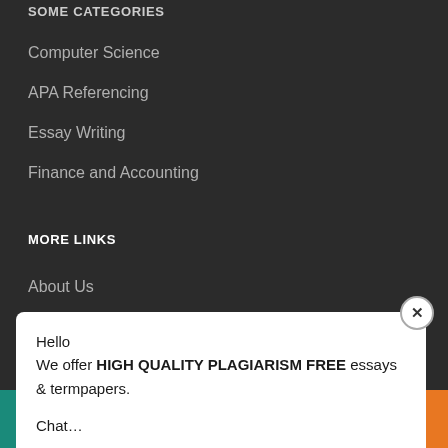SOME CATEGORIES
Computer Science
APA Referencing
Essay Writing
Finance and Accounting
MORE LINKS
About Us
Hello
We offer HIGH QUALITY PLAGIARISM FREE essays & termpapers.

Chat…
WE ACCEPT
Chat Here